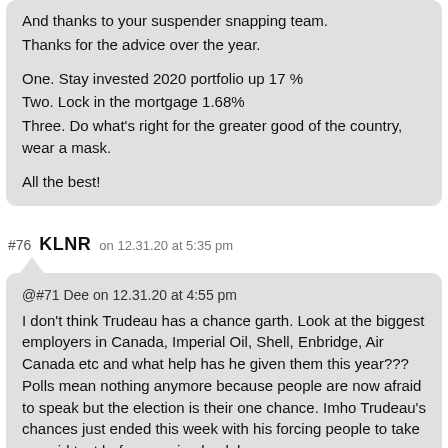And thanks to your suspender snapping team.
Thanks for the advice over the year.

One. Stay invested 2020 portfolio up 17 %
Two. Lock in the mortgage 1.68%
Three. Do what's right for the greater good of the country, wear a mask.

All the best!
#76 KLNR on 12.31.20 at 5:35 pm
@#71 Dee on 12.31.20 at 4:55 pm
I don't think Trudeau has a chance garth. Look at the biggest employers in Canada, Imperial Oil, Shell, Enbridge, Air Canada etc and what help has he given them this year??? Polls mean nothing anymore because people are now afraid to speak but the election is their one chance. Imho Trudeau's chances just ended this week with his forcing people to take a covid test before coming back here.

–

you kidding? he's been lauded for that move by the majority of canucks. and Otooles doing his best to hand the next election to the libs